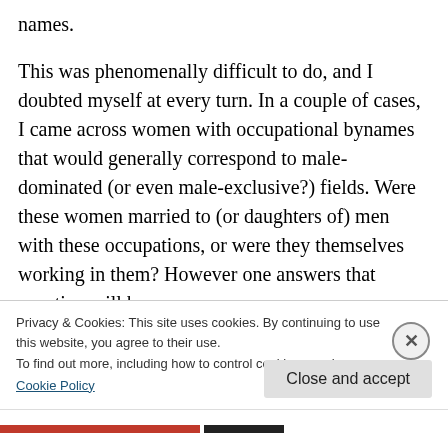names.
This was phenomenally difficult to do, and I doubted myself at every turn. In a couple of cases, I came across women with occupational bynames that would generally correspond to male-dominated (or even male-exclusive?) fields. Were these women married to (or daughters of) men with these occupations, or were they themselves working in them? However one answers that question will be
Privacy & Cookies: This site uses cookies. By continuing to use this website, you agree to their use.
To find out more, including how to control cookies, see here:
Cookie Policy
Close and accept